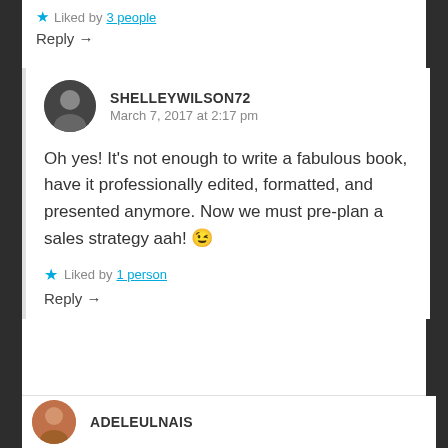Liked by 3 people
Reply →
SHELLEYWILSON72
March 7, 2017 at 2:17 pm
Oh yes! It's not enough to write a fabulous book, have it professionally edited, formatted, and presented anymore. Now we must pre-plan a sales strategy aah! 😉
Liked by 1 person
Reply →
ADELEULNAIS